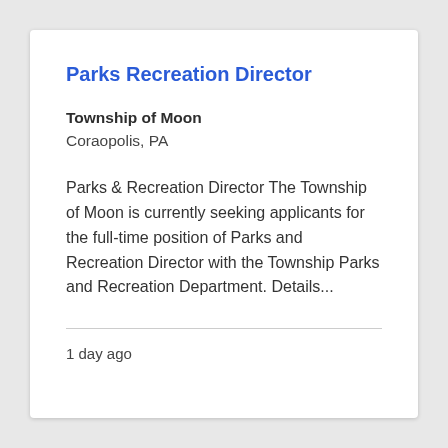Parks Recreation Director
Township of Moon
Coraopolis, PA
Parks & Recreation Director The Township of Moon is currently seeking applicants for the full-time position of Parks and Recreation Director with the Township Parks and Recreation Department. Details...
1 day ago